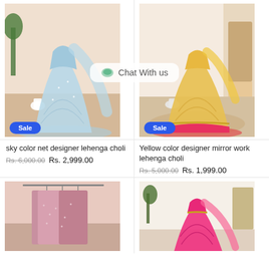[Figure (photo): Sky color net designer lehenga choli displayed on mannequin in a room setting with Sale badge]
[Figure (photo): Yellow color designer mirror work lehenga choli displayed on mannequin with Sale badge, Chat With Us overlay visible]
sky color net designer lehenga choli
Yellow color designer mirror work lehenga choli
Rs. 6,000.00  Rs. 2,999.00
Rs. 5,000.00  Rs. 1,999.00
[Figure (photo): Pink sequin lehenga choli on hangers]
[Figure (photo): Hot pink lehenga choli on mannequin]